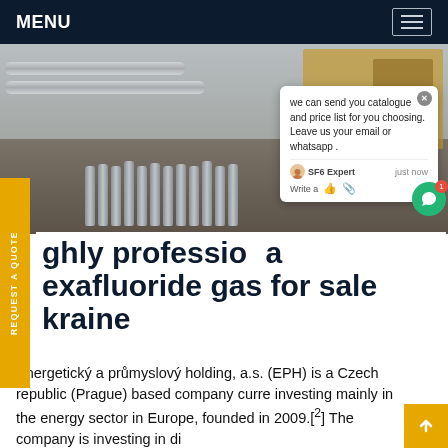MENU
[Figure (photo): Outdoor industrial site with large grey gas cylinders/tanks lined up, trucks and piping equipment in background]
we can send you catalogue and price list for you choosing. Leave us your email or whatsapp .
SF6 Expert   just now
Write a
ghly professional
exafluoride gas for sale
kraine
Energetický a průmyslový holding, a.s. (EPH) is a Czech republic (Prague) based company curre investing mainly in the energy sector in Europe, founded in 2009.[2] The company is investing in di